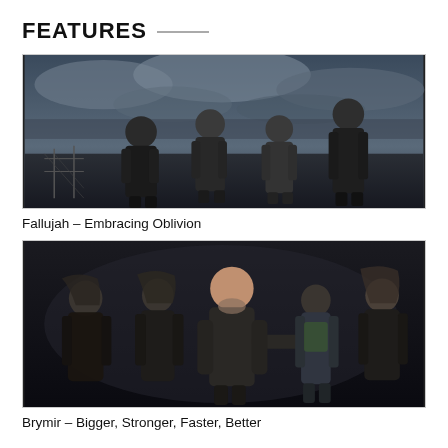FEATURES
[Figure (photo): Band photo of Fallujah — four men standing outdoors under a dramatic cloudy sky, all dressed in dark clothing]
Fallujah – Embracing Oblivion
[Figure (photo): Band photo of Brymir — five men posing indoors against a dark background, one pointing at the camera, wearing leather jackets]
Brymir – Bigger, Stronger, Faster, Better